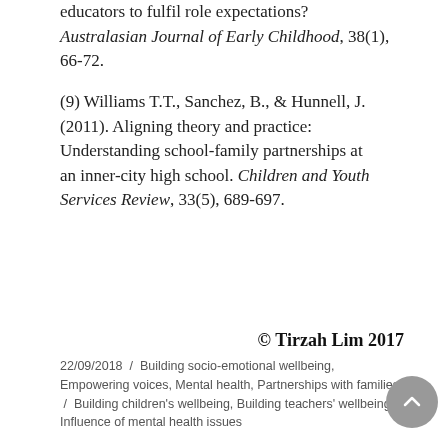educators to fulfil role expectations? Australasian Journal of Early Childhood, 38(1), 66-72.
(9) Williams T.T., Sanchez, B., & Hunnell, J. (2011). Aligning theory and practice: Understanding school-family partnerships at an inner-city high school. Children and Youth Services Review, 33(5), 689-697.
© Tirzah Lim 2017
22/09/2018 / Building socio-emotional wellbeing, Empowering voices, Mental health, Partnerships with families / Building children's wellbeing, Building teachers' wellbeing, Influence of mental health issues